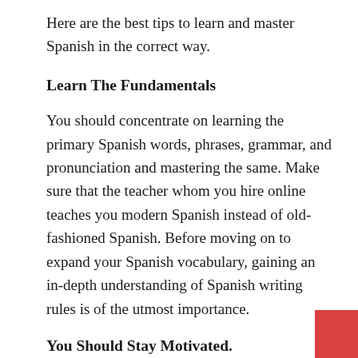Here are the best tips to learn and master Spanish in the correct way.
Learn The Fundamentals
You should concentrate on learning the primary Spanish words, phrases, grammar, and pronunciation and mastering the same. Make sure that the teacher whom you hire online teaches you modern Spanish instead of old-fashioned Spanish. Before moving on to expand your Spanish vocabulary, gaining an in-depth understanding of Spanish writing rules is of the utmost importance.
You Should Stay Motivated.